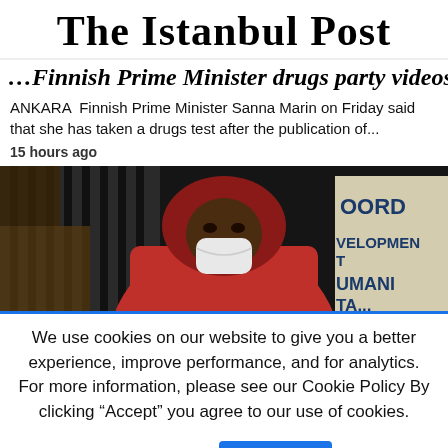The Istanbul Post
...Finnish Prime Minister drugs party videos...
ANKARA  Finnish Prime Minister Sanna Marin on Friday said that she has taken a drugs test after the publication of...
15 hours ago
[Figure (photo): A person wearing a red hoodie and white face mask, standing in front of a sign partially reading 'COORD', 'VELOPMEN', 'UMANI...' (humanitarian/coordination sign)]
We use cookies on our website to give you a better experience, improve performance, and for analytics. For more information, please see our Cookie Policy By clicking “Accept” you agree to our use of cookies.
Read More
Accept